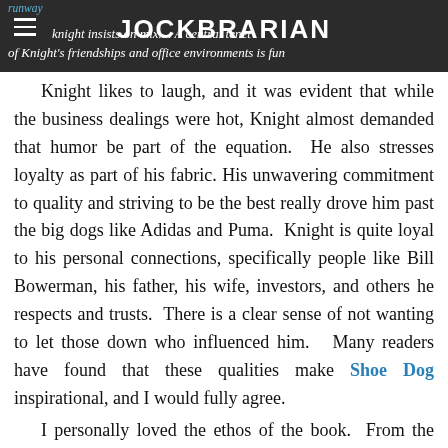JOCKBRARIAN
...knight insists on mix... A central tenet of Knight's friendships and office environments is fun
Knight likes to laugh, and it was evident that while the business dealings were hot, Knight almost demanded that humor be part of the equation.  He also stresses loyalty as part of his fabric. His unwavering commitment to quality and striving to be the best really drove him past the big dogs like Adidas and Puma.  Knight is quite loyal to his personal connections, specifically people like Bill Bowerman, his father, his wife, investors, and others he respects and trusts.  There is a clear sense of not wanting to let those down who influenced him.   Many readers have found that these qualities make Shoe Dog inspirational, and I would fully agree.
I personally loved the ethos of the book.  From the start, the reader gets a very worldly vibe from Knight.  He makes it clear that there is a "search for oneself" phase in life that is not to be denied--one that was the catalyst for Nike.  To a